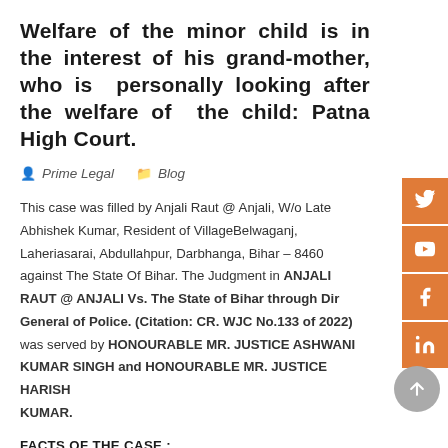Welfare of the minor child is in the interest of his grand-mother, who is personally looking after the welfare of the child: Patna High Court.
Prime Legal   Blog
This case was filled by Anjali Raut @ Anjali, W/o Late Abhishek Kumar, Resident of VillageBelwaganj, Laheriasarai, Abdullahpur, Darbhanga, Bihar – 8460 against The State Of Bihar. The Judgment in ANJALI RAUT @ ANJALI Vs. The State of Bihar through Director General of Police. (Citation: CR. WJC No.133 of 2022) was served by HONOURABLE MR. JUSTICE ASHWANI KUMAR SINGH and HONOURABLE MR. JUSTICE HARISH KUMAR.
FACTS OF THE CASE :